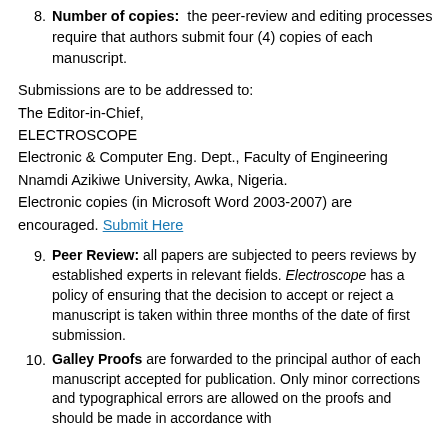Number of copies: the peer-review and editing processes require that authors submit four (4) copies of each manuscript.
Submissions are to be addressed to:
The Editor-in-Chief,
ELECTROSCOPE
Electronic & Computer Eng. Dept., Faculty of Engineering
Nnamdi Azikiwe University, Awka, Nigeria.
Electronic copies (in Microsoft Word 2003-2007) are encouraged. Submit Here
Peer Review: all papers are subjected to peers reviews by established experts in relevant fields. Electroscope has a policy of ensuring that the decision to accept or reject a manuscript is taken within three months of the date of first submission.
Galley Proofs are forwarded to the principal author of each manuscript accepted for publication. Only minor corrections and typographical errors are allowed on the proofs and should be made in accordance with